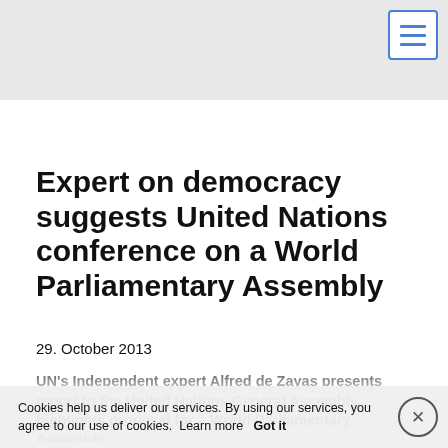Expert on democracy suggests United Nations conference on a World Parliamentary Assembly
29. October 2013
UN's Independent expert Alfred de Zayas presents report to the United Nations General Assembly, highlights proposal for a World Parliamentary Assembly
Cookies help us deliver our services. By using our services, you agree to our use of cookies. Learn more  Got it